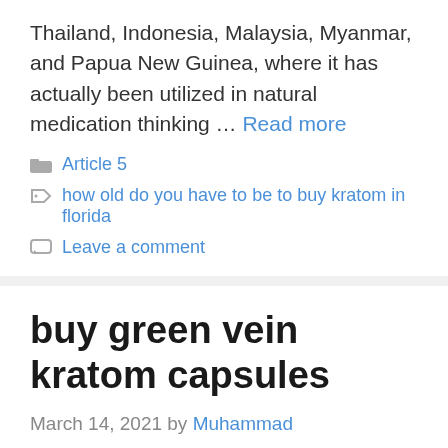Thailand, Indonesia, Malaysia, Myanmar, and Papua New Guinea, where it has actually been utilized in natural medication thinking … Read more
Article 5
how old do you have to be to buy kratom in florida
Leave a comment
buy green vein kratom capsules
March 14, 2021 by Muhammad